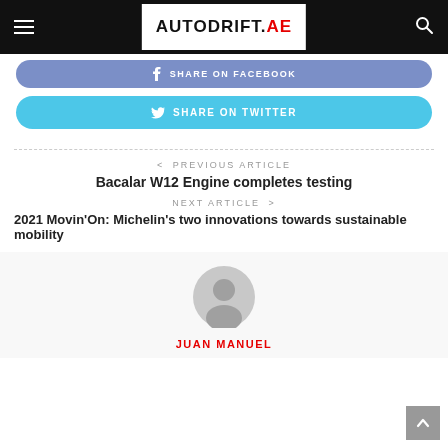AUTODRIFT.AE
SHARE ON FACEBOOK
SHARE ON TWITTER
< PREVIOUS ARTICLE
Bacalar W12 Engine completes testing
NEXT ARTICLE >
2021 Movin'On: Michelin's two innovations towards sustainable mobility
JUAN MANUEL